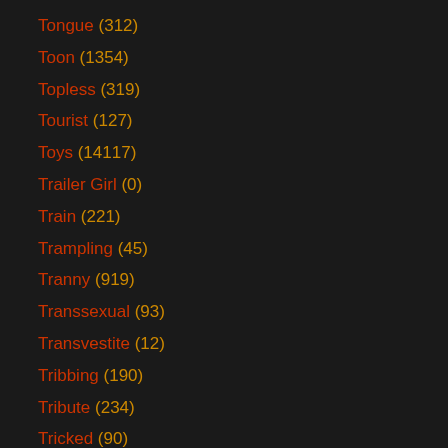Tongue (312)
Toon (1354)
Topless (319)
Tourist (127)
Toys (14117)
Trailer Girl (0)
Train (221)
Trampling (45)
Tranny (919)
Transsexual (93)
Transvestite (12)
Tribbing (190)
Tribute (234)
Tricked (90)
Trimmed Pussy (48)
Trinity Angel (53)